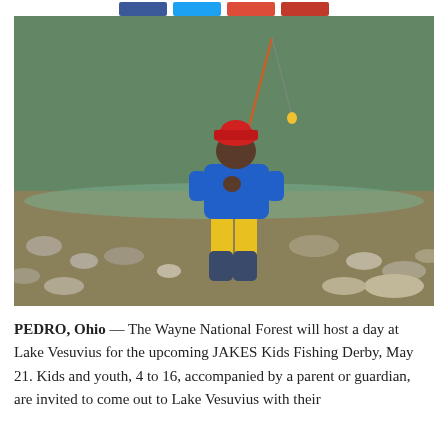[Figure (photo): A young child wearing a red cap, blue jacket, yellow pants, and black rubber boots, standing at the rocky shore of a lake or river, holding a fishing rod.]
PEDRO, Ohio — The Wayne National Forest will host a day at Lake Vesuvius for the upcoming JAKES Kids Fishing Derby, May 21. Kids and youth, 4 to 16, accompanied by a parent or guardian, are invited to come out to Lake Vesuvius with their